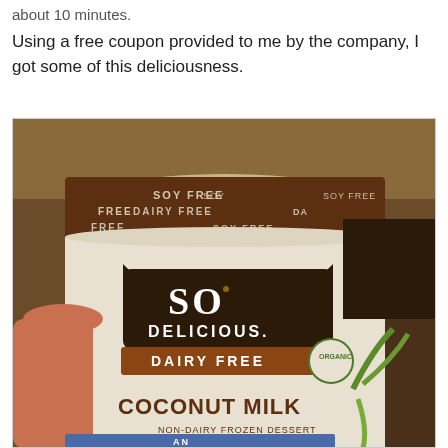about 10 minutes.
Using a free coupon provided to me by the company, I got some of this deliciousness.
[Figure (photo): A hand holding a container of So Delicious Dairy Free Coconut Milk Non-Dairy Frozen Dessert. The top lid of the container shows repeated text: SOY FREE, DAIRY FREE, SOY FREE in brown and white lettering. The container label shows the So Delicious brand logo and the text COCONUT MILK NON-DAIRY FROZEN DESSERT.]